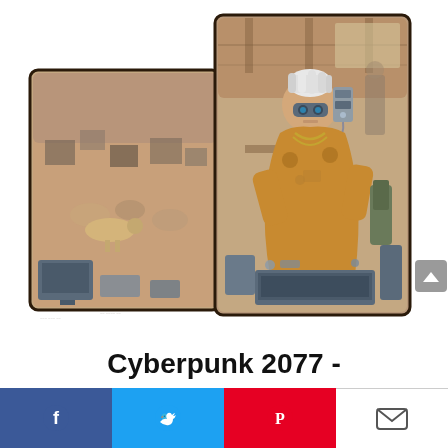[Figure (photo): Two Cyberpunk 2077 steelbook game cases. The left case shows the back/side with a chaotic room scene full of characters, animals, TVs and clutter, with a yellow spine visible. The right case shows the front cover with a cyberpunk character with white hair, goggles, cybernetic enhancements, wearing a yellow coat, surrounded by tech equipment. A grey scroll-to-top button is visible on the far right.]
Cyberpunk 2077 -
Facebook | Twitter | Pinterest | Email